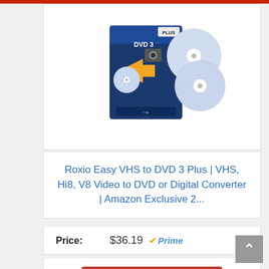[Figure (photo): Roxio Easy VHS to DVD 3 Plus product box with USB capture device and DVDs]
Roxio Easy VHS to DVD 3 Plus | VHS, Hi8, V8 Video to DVD or Digital Converter | Amazon Exclusive 2...
Price: $36.19 Prime
Buy on Amazon
[Figure (photo): UCEC Video Converter USB device with cable and product box]